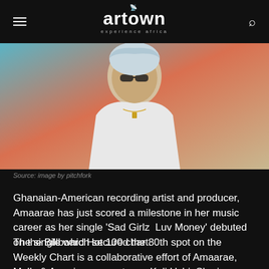artown — experience africa
[Figure (photo): Photo of Amaarae, a Ghanaian-American recording artist, wearing a white outfit with sunglasses and a gold necklace, seated in front of a colorful background. Source: image by pitchfork]
Source: image by pitchfork
Ghanaian-American recording artist and producer, Amaarae has just scored a milestone in her music career as her single 'Sad Girlz  Luv Money' debuted on the Billboard Hot 100 chart.
The single which secured the 80th spot on the Weekly Chart is a collaborative effort of Amaarae, Molly & American songstress, Kali Uchi. She is